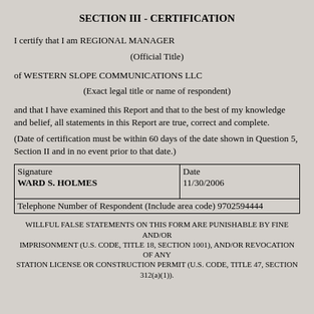SECTION III - CERTIFICATION
I certify that I am REGIONAL MANAGER
(Official Title)
of WESTERN SLOPE COMMUNICATIONS LLC
(Exact legal title or name of respondent)
and that I have examined this Report and that to the best of my knowledge and belief, all statements in this Report are true, correct and complete.
(Date of certification must be within 60 days of the date shown in Question 5, Section II and in no event prior to that date.)
| Signature | Date |
| --- | --- |
| WARD S. HOLMES | 11/30/2006 |
| Telephone Number of Respondent (Include area code) 9702594444 |  |
WILLFUL FALSE STATEMENTS ON THIS FORM ARE PUNISHABLE BY FINE AND/OR IMPRISONMENT (U.S. CODE, TITLE 18, SECTION 1001), AND/OR REVOCATION OF ANY STATION LICENSE OR CONSTRUCTION PERMIT (U.S. CODE, TITLE 47, SECTION 312(a)(1)).